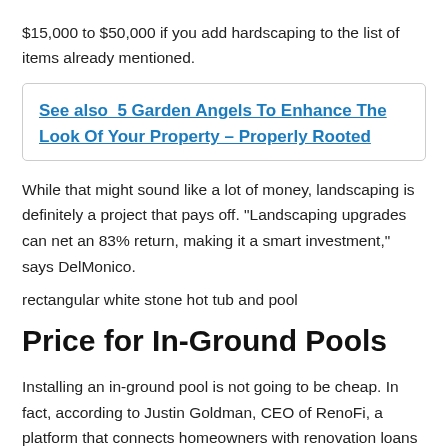$15,000 to $50,000 if you add hardscaping to the list of items already mentioned.
See also  5 Garden Angels To Enhance The Look Of Your Property – Properly Rooted
While that might sound like a lot of money, landscaping is definitely a project that pays off. “Landscaping upgrades can net an 83% return, making it a smart investment,” says DelMonico.
rectangular white stone hot tub and pool
Price for In-Ground Pools
Installing an in-ground pool is not going to be cheap. In fact, according to Justin Goldman, CEO of RenoFi, a platform that connects homeowners with renovation loans for remodeling